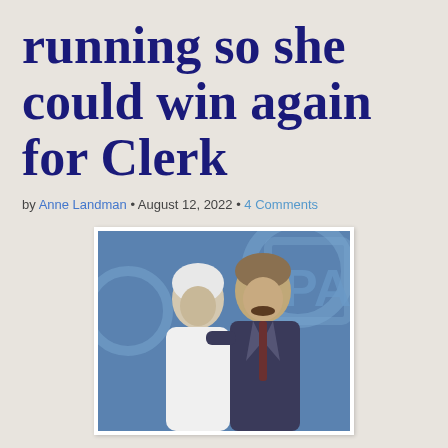running so she could win again for Clerk
by Anne Landman • August 12, 2022 • 4 Comments
[Figure (photo): Two people embracing in front of a blue background with partial text visible. An older woman with white hair in a white outfit and a man in a suit with a mustache.]